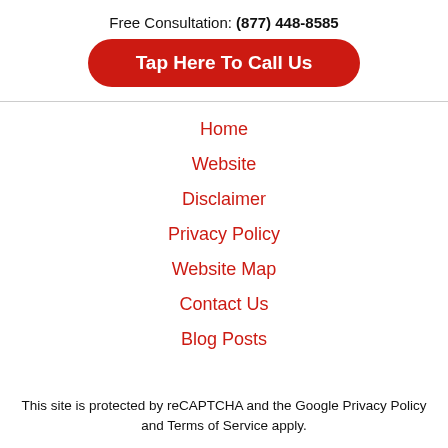Free Consultation: (877) 448-8585
[Figure (other): Red rounded button with white bold text: Tap Here To Call Us]
Home
Website
Disclaimer
Privacy Policy
Website Map
Contact Us
Blog Posts
This site is protected by reCAPTCHA and the Google Privacy Policy and Terms of Service apply.